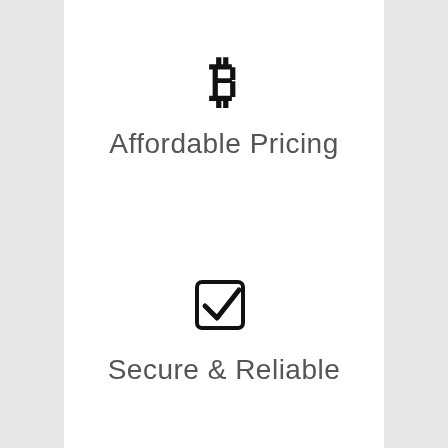[Figure (illustration): Bitcoin symbol icon (₿) in bold black]
Affordable Pricing
[Figure (illustration): Checkbox with checkmark icon in bold black]
Secure & Reliable